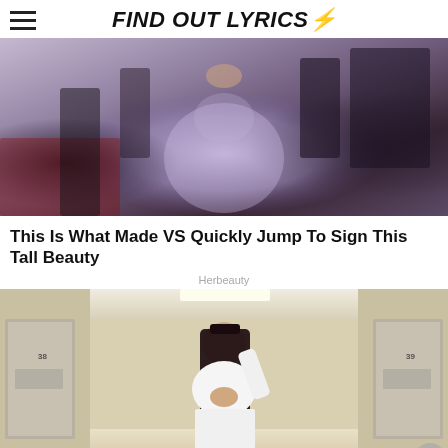FIND OUT LYRICS⚡
[Figure (photo): Woman in a shiny lavender/silver strapless dress on a red carpet event, surrounded by a crowd of people]
This Is What Made VS Quickly Jump To Sign This Tall Beauty
Herbeauty
[Figure (photo): Woman with long dark hair wearing a white cropped top and white skirt, posing in a hallway with numbered doors]